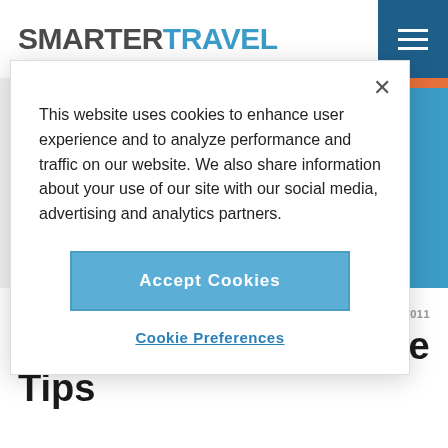SMARTERTRAVEL
This website uses cookies to enhance user experience and to analyze performance and traffic on our website. We also share information about your use of our site with our social media, advertising and analytics partners.
Accept Cookies
Cookie Preferences
ARTS & CULTURE
Feb 25, 2011
Gozo Nightlife – Clubs, Bars & Nightlife Tips